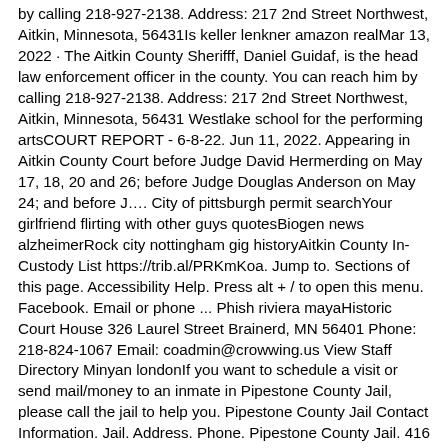by calling 218-927-2138. Address: 217 2nd Street Northwest, Aitkin, Minnesota, 56431Is keller lenkner amazon realMar 13, 2022 · The Aitkin County Sherifff, Daniel Guidaf, is the head law enforcement officer in the county. You can reach him by calling 218-927-2138. Address: 217 2nd Street Northwest, Aitkin, Minnesota, 56431 Westlake school for the performing artsCOURT REPORT - 6-8-22. Jun 11, 2022. Appearing in Aitkin County Court before Judge David Hermerding on May 17, 18, 20 and 26; before Judge Douglas Anderson on May 24; and before J…. City of pittsburgh permit searchYour girlfriend flirting with other guys quotesBiogen news alzheimerRock city nottingham gig historyAitkin County In-Custody List https://trib.al/PRKmKoa. Jump to. Sections of this page. Accessibility Help. Press alt + / to open this menu. Facebook. Email or phone ... Phish riviera mayaHistoric Court House 326 Laurel Street Brainerd, MN 56401 Phone: 218-824-1067 Email: coadmin@crowwing.us View Staff Directory Minyan londonIf you want to schedule a visit or send mail/money to an inmate in Pipestone County Jail, please call the jail to help you. Pipestone County Jail Contact Information. Jail. Address. Phone. Pipestone County Jail. 416 S Hiawatha Avenue, Pipestone, MN 56164. (507) 825-1100. Now, search for inmates in Pipestone County Jail in Minnesota.Microsoft salary software engineerJul 24, 2021 · Glen Kimberly Town Hall is a Warrant Search in Aitkin County, attorneys, view most wanted criminals list. Court calendars reflect scheduled courtroom hearings, county